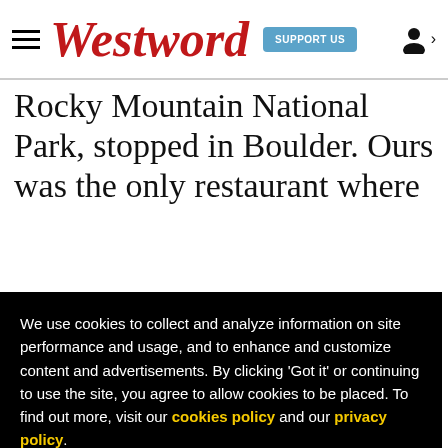Westword | SUPPORT US
Rocky Mountain National Park, stopped in Boulder. Ours was the only restaurant where
We use cookies to collect and analyze information on site performance and usage, and to enhance and customize content and advertisements. By clicking 'Got it' or continuing to use the site, you agree to allow cookies to be placed. To find out more, visit our cookies policy and our privacy policy.
Got it!
absolutely no idea, and I have to admit that it's